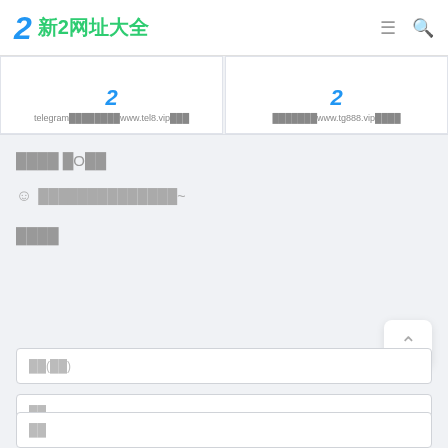2 新2网址大全
[Figure (screenshot): Two card links: telegram...www.tel8.vip... and ...www.tg888.vip...]
□□□□ □O□□
☺ □□□□□□□□□□□□□□~
□□□□
□□(□□)
□□
□□